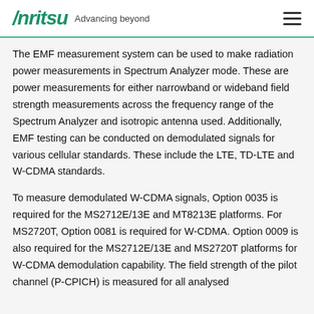Anritsu Advancing beyond
The EMF measurement system can be used to make radiation power measurements in Spectrum Analyzer mode. These are power measurements for either narrowband or wideband field strength measurements across the frequency range of the Spectrum Analyzer and isotropic antenna used. Additionally, EMF testing can be conducted on demodulated signals for various cellular standards. These include the LTE, TD-LTE and W-CDMA standards.
To measure demodulated W-CDMA signals, Option 0035 is required for the MS2712E/13E and MT8213E platforms. For MS2720T, Option 0081 is required for W-CDMA. Option 0009 is also required for the MS2712E/13E and MS2720T platforms for W-CDMA demodulation capability. The field strength of the pilot channel (P-CPICH) is measured for all analysed...